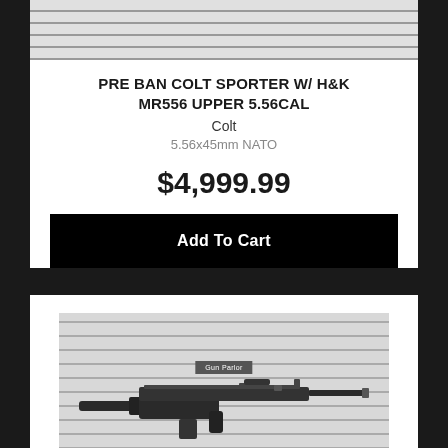[Figure (photo): Partial product image on slatwall background, top of first product listing]
PRE BAN COLT SPORTER W/ H&K MR556 UPPER 5.56CAL
Colt
5.56x45mm NATO
$4,999.99
Add To Cart
[Figure (photo): AR-style rifle displayed on horizontal slatwall panel with Gun Parlor store badge]